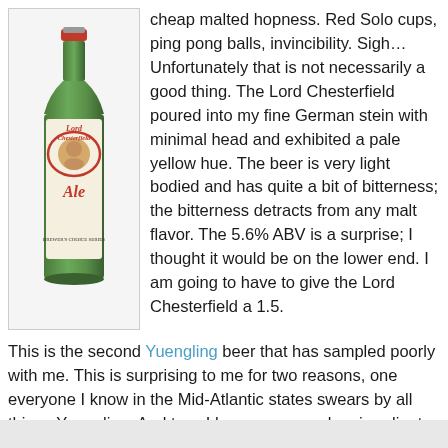[Figure (photo): A green glass bottle of Lord Chesterfield Ale with a red and white label featuring a portrait of a man, displayed in a bordered box.]
cheap malted hopness. Red Solo cups, ping pong balls, invincibility. Sigh… Unfortunately that is not necessarily a good thing. The Lord Chesterfield poured into my fine German stein with minimal head and exhibited a pale yellow hue. The beer is very light bodied and has quite a bit of bitterness; the bitterness detracts from any malt flavor. The 5.6% ABV is a surprise; I thought it would be on the lower end. I am going to have to give the Lord Chesterfield a 1.5.
This is the second Yuengling beer that has sampled poorly with me. This is surprising to me for two reasons, one everyone I know in the Mid-Atlantic states swears by all things Yuengling. And two, I have consumed an inordinate amount of Yuengling in my life. I think I am going to have to take on the Black & Tan if I can find it, I think I remember actually liking that one.